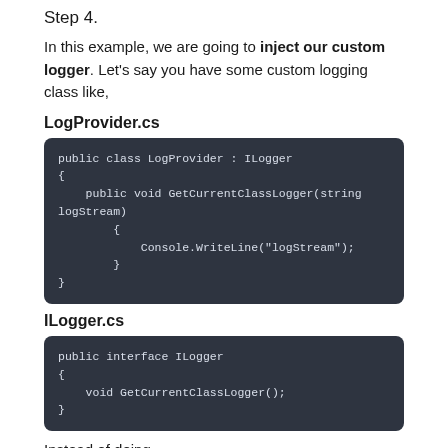Step 4.
In this example, we are going to inject our custom logger. Let's say you have some custom logging class like,
LogProvider.cs
[Figure (screenshot): Code block showing: public class LogProvider : ILogger { public void GetCurrentClassLogger(string logStream) { Console.WriteLine("logStream"); } }]
ILogger.cs
[Figure (screenshot): Code block showing: public interface ILogger { void GetCurrentClassLogger(); }]
Instead of doing,